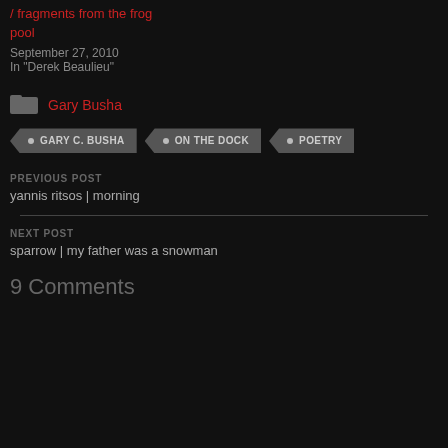/ fragments from the frog pool
September 27, 2010
In "Derek Beaulieu"
Gary Busha
GARY C. BUSHA
ON THE DOCK
POETRY
PREVIOUS POST
yannis ritsos | morning
NEXT POST
sparrow | my father was a snowman
9 Comments